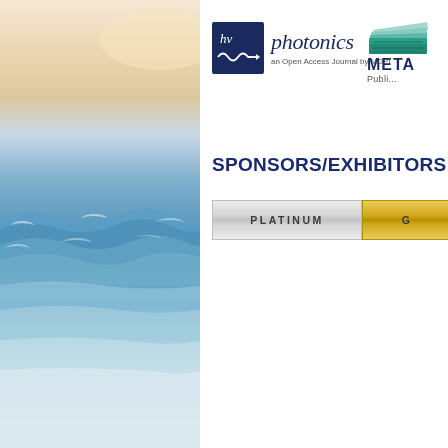[Figure (photo): Ocean/seascape background photo on left side of page, showing blue ocean waves with warm sky tones at top]
[Figure (logo): Photonics journal logo: dark navy square with 'hv' and waveform icon, followed by italic 'photonics' text and 'an Open Access Journal by MDPI' subtitle]
[Figure (logo): META Publishing logo: stacked book/pages icon in teal/green colors with 'META' and 'Publi...' text (partially visible)]
SPONSORS/EXHIBITORS
PLATINUM
G...